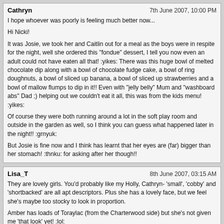Cathryn
7th June 2007, 10:00 PM

I hope whoever was poorly is feeling much better now...

Hi Nicki!

It was Josie, we took her and Caitlin out for a meal as the boys were in respite for the night, well she ordered this "fondue" dessert, I tell you now even an adult could not have eaten all that! :yikes: There was this huge bowl of melted chocolate dip along with a bowl of chocolate fudge cake, a bowl of ring doughnuts, a bowl of sliced up banana, a bowl of sliced up strawberries and a bowl of mallow flumps to dip in it!! Even with "jelly belly" Mum and "washboard abs" Dad ;) helping out we couldn't eat it all, this was from the kids menu! :yikes:

Of course they were both running around a lot in the soft play room and outside in the garden as well, so I think you can guess what happened later in the night!! :grnyuk:

But Josie is fine now and I think has learnt that her eyes are (far) bigger than her stomach! :thnku: for asking after her though!!
Lisa_T
8th June 2007, 03:15 AM

They are lovely girls. You'd probably like my Holly, Cathryn- 'small', 'cobby' and 'shortbacked' are all apt descriptors. Plus she has a lovely face, but we feel she's maybe too stocky to look in proportion.

Amber has loads of Toraylac (from the Charterwood side) but she's not given me 'that look' yet! :lol:
enchantingdragon
11th June 2007, 03:07 AM

What a beauty. Thanks for doing this journal as well. I will be definitly following your progress as I am keen to learn more about SM as well